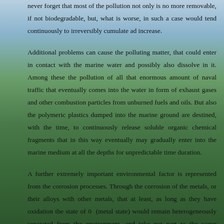never forget that most of the pollution not only is no more removable, if not biodegradable, but, what is worse, in such a case would tend continuously to irreversibly cumulate ad increase.
Additional problems can cause the polluting matter, that could enter in contact with the marine water and possibly also dissolve in it. Among these the pollution of all that enormous amount of naval traffic that eventually comes into the water in form of exhaust gases and other combustion particles from unburned fuels and oils. But also the polymeric plastics dumped into the marine ground are destined, with the time, to continuously release soluble organic chemical fragments that in this way eventually may gradually enter into the marine medium at all the depths for unpredictable time duration.
A further extremely important environmental factor is represented from the corrosion processes. Through the corrosion of the metals, or their alloys with other metals, that at least, as long as they have oxidation the state of 0 (metal state) would remain heterogeneously separated from the environment, and take not part to the water solution yet, they can become dissolved in it and diffuse virtually everywhere as soon as they are oxidized to active ionic species, or they can progressively be dissipated...